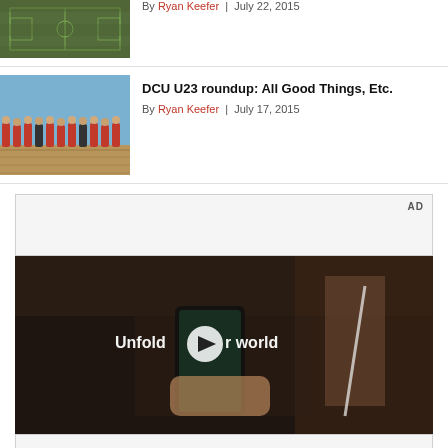[Figure (photo): Partial article thumbnail showing a soccer/football field from an elevated angle]
By Ryan Keefer | July 22, 2015
[Figure (photo): Group photo of DCU U23 soccer team members standing together outdoors]
DCU U23 roundup: All Good Things, Etc.
By Ryan Keefer | July 17, 2015
[Figure (other): Advertisement placeholder with AD label]
[Figure (screenshot): Video player showing Samsung advertisement with text 'Unfold your world' and a play button overlay, showing a person holding a foldable phone in a car]